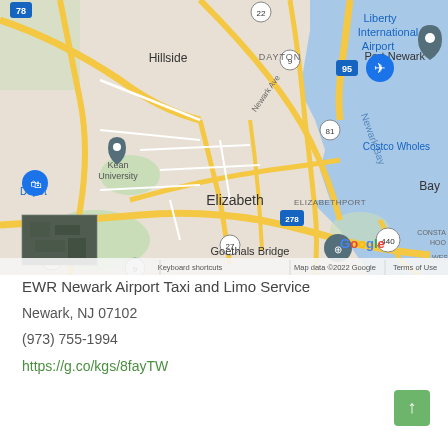[Figure (map): Google Maps screenshot showing Elizabeth, NJ area with Liberty International Airport, Port Newark, Kean University, Warinanco Park, Goethals Bridge, Bayonne Bridge, Newark Bay, and surrounding streets and highways (78, 95, 9, 27, 81, 278, 440). Map data ©2022 Google.]
EWR Newark Airport Taxi and Limo Service
Newark, NJ 07102
(973) 755-1994
https://g.co/kgs/8fayTW